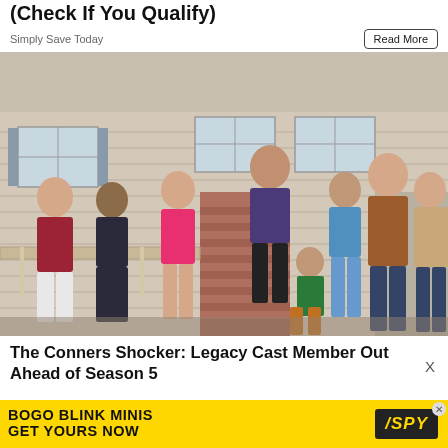(Check If You Qualify)
Simply Save Today
Read More
[Figure (photo): Cast photo of The Conners TV show — group of 8 actors posed in front of a suburban house set, on a porch with brick steps]
The Conners Shocker: Legacy Cast Member Out Ahead of Season 5
X
[Figure (infographic): Advertisement banner: BOGO BLINK MINIS GET YOURS NOW with SPY logo on yellow background]